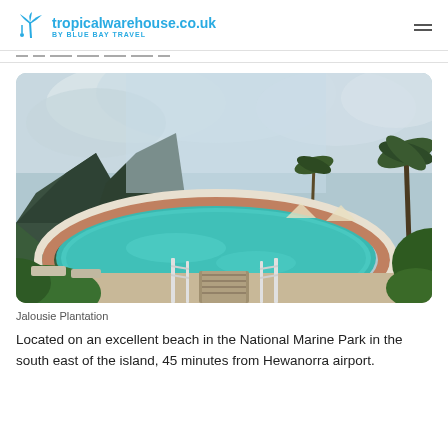tropicalwarehouse.co.uk BY BLUE BAY TRAVEL
[Figure (photo): Outdoor resort swimming pool with turquoise water, surrounded by tropical palms and a dramatic mountain backdrop under cloudy skies. Wooden walkway leads to pool entrance.]
Jalousie Plantation
Located on an excellent beach in the National Marine Park in the south east of the island, 45 minutes from Hewanorra airport.